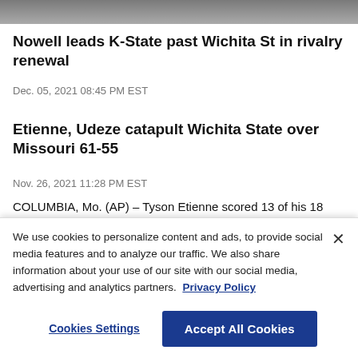[Figure (photo): Partial top edge of a photo of people, cropped]
Nowell leads K-State past Wichita St in rivalry renewal
Dec. 05, 2021 08:45 PM EST
Etienne, Udeze catapult Wichita State over Missouri 61-55
Nov. 26, 2021 11:28 PM EST
COLUMBIA, Mo. (AP) – Tyson Etienne scored 13 of his 18 points in the second half and Morris Udeze netted 11 of his 15 points af
We use cookies to personalize content and ads, to provide social media features and to analyze our traffic. We also share information about your use of our site with our social media, advertising and analytics partners. Privacy Policy
[Figure (photo): Partial bottom photo visible behind cookie banner]